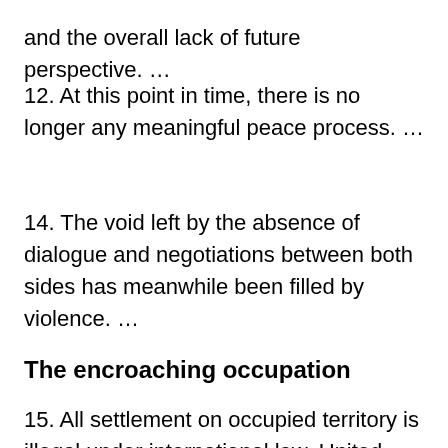and the overall lack of future perspective. …
12. At this point in time, there is no longer any meaningful peace process. …
14. The void left by the absence of dialogue and negotiations between both sides has meanwhile been filled by violence. …
The encroaching occupation
15. All settlement on occupied territory is illegal under international law. United Nations Security Council resolution 2334 calls on Israel to